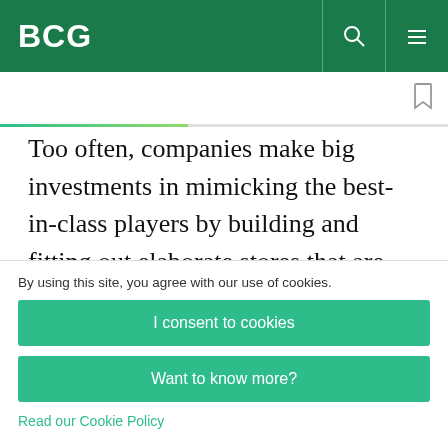BCG
Too often, companies make big investments in mimicking the best-in-class players by building and fitting out elaborate stores that are full of superficial (and expensive) bells and whistles that they believe their customers want. Too many
By using this site, you agree with our use of cookies.
I consent to cookies
Want to know more?
Read our Cookie Policy